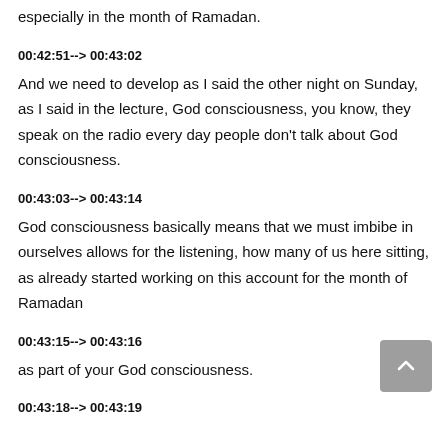especially in the month of Ramadan.
00:42:51--> 00:43:02
And we need to develop as I said the other night on Sunday, as I said in the lecture, God consciousness, you know, they speak on the radio every day people don't talk about God consciousness.
00:43:03--> 00:43:14
God consciousness basically means that we must imbibe in ourselves allows for the listening, how many of us here sitting, as already started working on this account for the month of Ramadan
00:43:15--> 00:43:16
as part of your God consciousness.
00:43:18--> 00:43:19